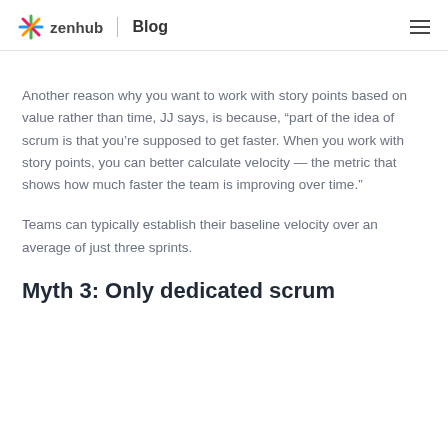zenhub | Blog
Another reason why you want to work with story points based on value rather than time, JJ says, is because, “part of the idea of scrum is that you’re supposed to get faster. When you work with story points, you can better calculate velocity — the metric that shows how much faster the team is improving over time.”
Teams can typically establish their baseline velocity over an average of just three sprints.
Myth 3: Only dedicated scrum